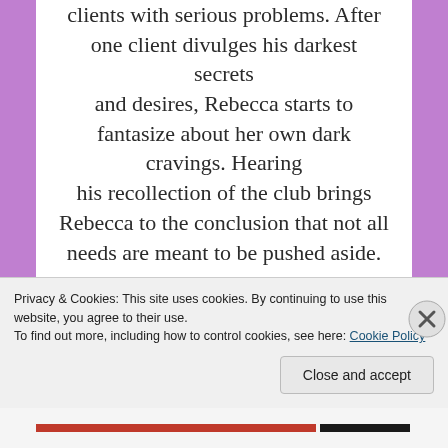clients with serious problems. After one client divulges his darkest secrets and desires, Rebecca starts to fantasize about her own dark cravings. Hearing his recollection of the club brings Rebecca to the conclusion that not all needs are meant to be pushed aside.
Nathaniel Davenport, high-priced defense attorney, has lived a promiscuous life. Within the walls of Wrapped, he finds acceptance.
Privacy & Cookies: This site uses cookies. By continuing to use this website, you agree to their use. To find out more, including how to control cookies, see here: Cookie Policy